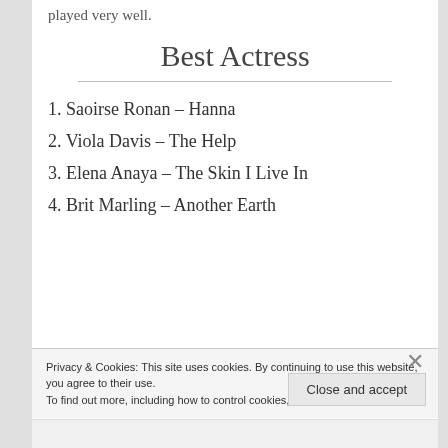…talented young actor with a big role that he played very well.
Best Actress
1. Saoirse Ronan – Hanna
2. Viola Davis – The Help
3. Elena Anaya – The Skin I Live In
4. Brit Marling – Another Earth
Privacy & Cookies: This site uses cookies. By continuing to use this website, you agree to their use.
To find out more, including how to control cookies, see here: Cookie Policy
Close and accept